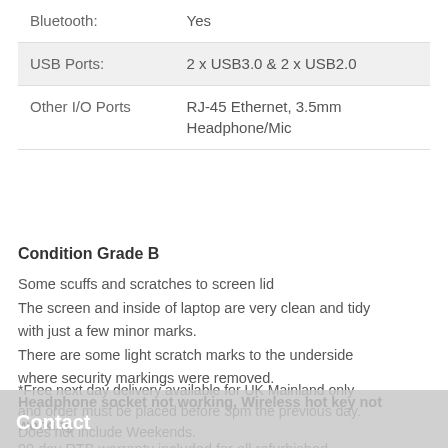| Feature | Value |
| --- | --- |
| Bluetooth: | Yes |
| USB Ports: | 2 x USB3.0 & 2 x USB2.0 |
| Other I/O Ports | RJ-45 Ethernet, 3.5mm Headphone/Mic |
Condition Grade B
Some scuffs and scratches to screen lid
The screen and inside of laptop are very clean and tidy with just a few minor marks.
There are some light scratch marks to the underside where security markings were removed.
Headphone socket not working, Wireless hot key not working
90 day RTB warranty included for all refurbished computers for that peace of mind
*Free next day delivery available for UK Mainland only and order must be placed before 3pm the previous day. Does not include Weekends.
Contact